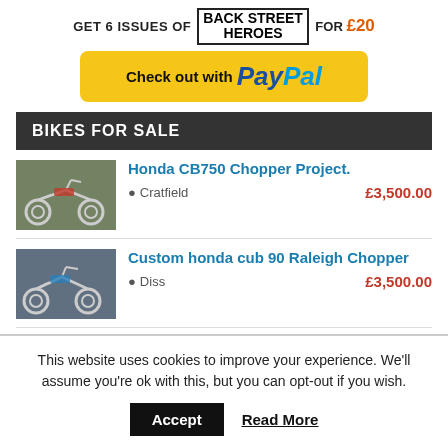[Figure (infographic): Advertisement banner: GET 6 ISSUES OF BACK STREET HEROES FOR £20]
[Figure (infographic): PayPal checkout button - yellow rounded rectangle with 'Check out with PayPal' text]
BIKES FOR SALE
Honda CB750 Chopper Project. | Cratfield | £3,500.00
Custom honda cub 90 Raleigh Chopper | Diss | £3,500.00
This website uses cookies to improve your experience. We'll assume you're ok with this, but you can opt-out if you wish.
Accept   Read More